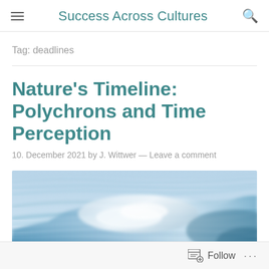Success Across Cultures
Tag: deadlines
Nature’s Timeline: Polychrons and Time Perception
10. December 2021 by J. Wittwer — Leave a comment
[Figure (photo): Abstract swirling blue and white water wave motion blur photograph]
Follow ...